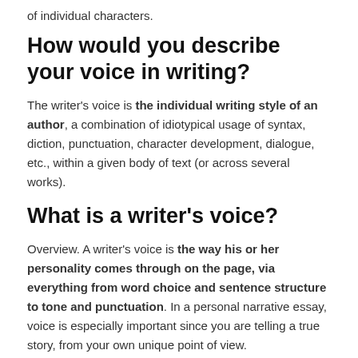of individual characters.
How would you describe your voice in writing?
The writer's voice is the individual writing style of an author, a combination of idiotypical usage of syntax, diction, punctuation, character development, dialogue, etc., within a given body of text (or across several works).
What is a writer's voice?
Overview. A writer's voice is the way his or her personality comes through on the page, via everything from word choice and sentence structure to tone and punctuation. In a personal narrative essay, voice is especially important since you are telling a true story, from your own unique point of view.